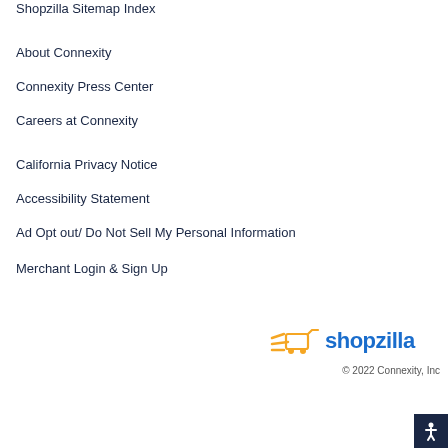Shopzilla Sitemap Index
About Connexity
Connexity Press Center
Careers at Connexity
California Privacy Notice
Accessibility Statement
Ad Opt out/ Do Not Sell My Personal Information
Merchant Login & Sign Up
[Figure (logo): Shopzilla logo with orange shopping cart icon and blue text]
© 2022 Connexity, Inc